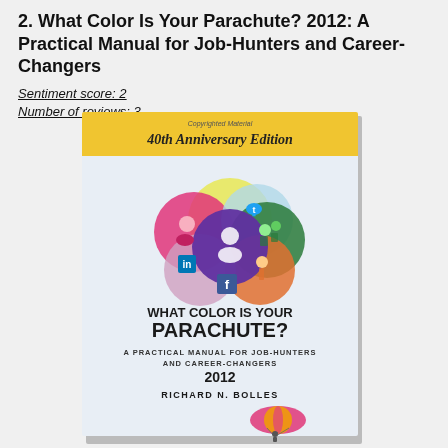2. What Color Is Your Parachute? 2012: A Practical Manual for Job-Hunters and Career-Changers
Sentiment score: 2
Number of reviews: 3
[Figure (illustration): Book cover of 'What Color Is Your Parachute? 2012: A Practical Manual for Job-Hunters and Career-Changers' by Richard N. Bolles. 40th Anniversary Edition. Features overlapping colorful circles with social media icons and silhouette figures, and a parachute illustration at the bottom.]